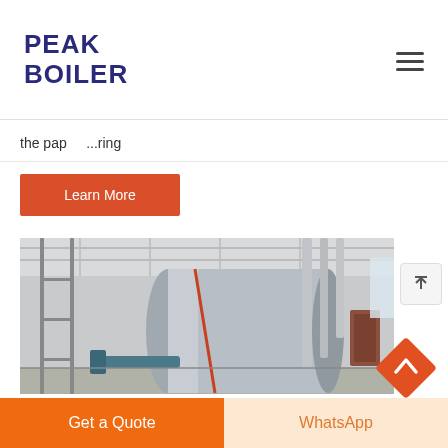PEAK BOILER
the pap...ring
Learn More
[Figure (photo): Industrial boiler installed in a factory/plant room. Large horizontal cylindrical silver/metallic boiler with pipes, situated in a bright industrial building.]
Boiler 400000 Kcal H
Get a Quote
WhatsApp